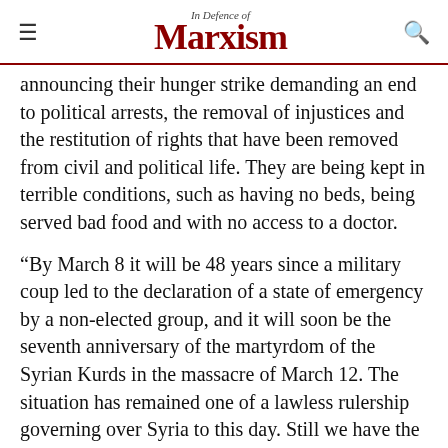In Defence of Marxism
announcing their hunger strike demanding an end to political arrests, the removal of injustices and the restitution of rights that have been removed from civil and political life. They are being kept in terrible conditions, such as having no beds, being served bad food and with no access to a doctor.
“By March 8 it will be 48 years since a military coup led to the declaration of a state of emergency by a non-elected group, and it will soon be the seventh anniversary of the martyrdom of the Syrian Kurds in the massacre of March 12. The situation has remained one of a lawless rulership governing over Syria to this day. Still we have the influence of the security services using state political despotism